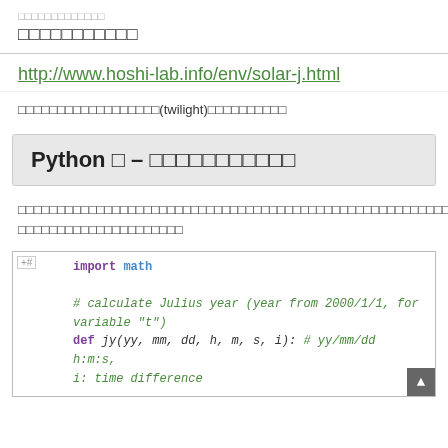□□□□□□□□□□□
http://www.hoshi-lab.info/env/solar-j.html
□□□□□□□□□□□□□□□□□□(twilight)□□□□□□□□□□
Python □ – □□□□□□□□□□□
□□□□□□□□□□□□□□□□□□□□□□□□□□□□□□□□□□□□□□□□□□□□□□□□□□□□□□□□□□□□□□□□□□□□□□□□□□□□□□□□□□□□□□□□□□□□□□□□□□□□□□□□□□□□□□□□□□□□□□□□□□□□□□□□□□□□□□□□□□□□□
[Figure (screenshot): Python code snippet showing: import math, comment about Julius year calculation, def jy(yy, mm, dd, h, m, s, i): # yy/mm/dd h:m:s, i: time difference]